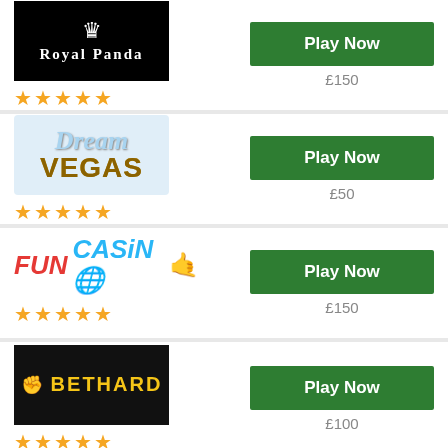[Figure (logo): Royal Panda casino logo - black background with white crown and Royal Panda text]
★★★★★
Play Now
£150
[Figure (logo): Dream Vegas casino logo - blue cursive Dream text above stylized Vegas in gold/brown letters]
★★★★★
Play Now
£50
[Figure (logo): Fun Casino logo - red FUN text, blue CASINO text with emoji]
★★★★★
Play Now
£150
[Figure (logo): Bethard casino logo - black background with yellow fist icon and BETHARD text in yellow]
★★★★★
Play Now
£100